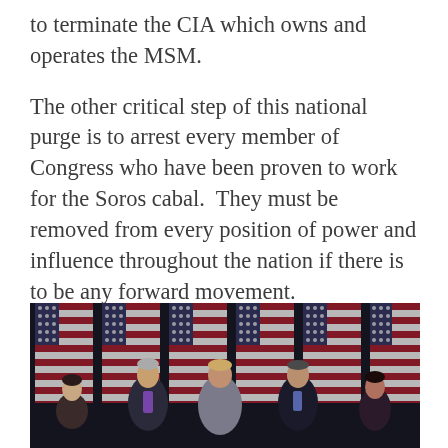to terminate the CIA which owns and operates the MSM.
The other critical step of this national purge is to arrest every member of Congress who have been proven to work for the Soros cabal. They must be removed from every position of power and influence throughout the nation if there is to be any forward movement.
[Figure (photo): A group of people standing in front of multiple American flags. Several individuals visible including a woman in purple on the left, a man in a purple tie, a woman in the center speaking, a man in a dark suit, and a woman on the right.]